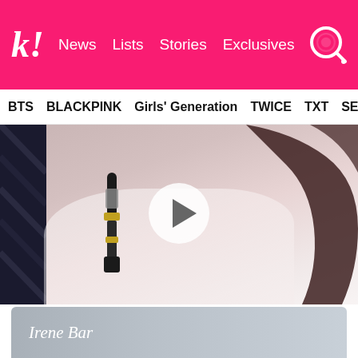k! News Lists Stories Exclusives
BTS BLACKPINK Girls' Generation TWICE TXT SEVE
[Figure (photo): A woman with long dark hair holding a black microphone, wearing a white lace outfit, with a play button overlay indicating a video thumbnail]
…and hold the world in her tiny hands.
[Figure (photo): Bottom image with text 'Irene Bar' overlaid in white italic script, gray-toned background]